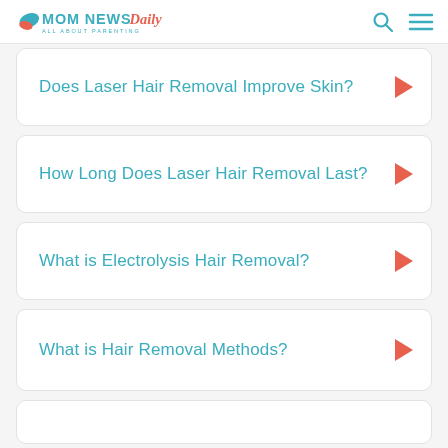MOM NEWS Daily ALL ABOUT PARENTING
Does Laser Hair Removal Improve Skin?
How Long Does Laser Hair Removal Last?
What is Electrolysis Hair Removal?
What is Hair Removal Methods?